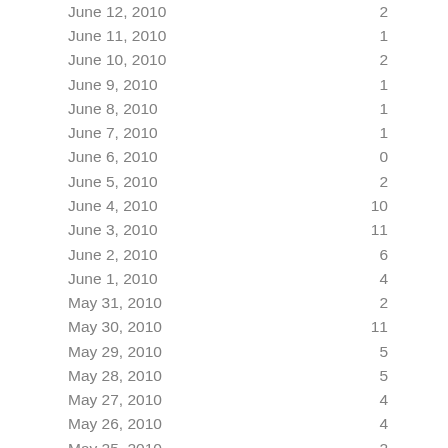| Date | Value |
| --- | --- |
| June 12, 2010 | 2 |
| June 11, 2010 | 1 |
| June 10, 2010 | 2 |
| June 9, 2010 | 1 |
| June 8, 2010 | 1 |
| June 7, 2010 | 1 |
| June 6, 2010 | 0 |
| June 5, 2010 | 2 |
| June 4, 2010 | 10 |
| June 3, 2010 | 11 |
| June 2, 2010 | 6 |
| June 1, 2010 | 4 |
| May 31, 2010 | 2 |
| May 30, 2010 | 11 |
| May 29, 2010 | 5 |
| May 28, 2010 | 5 |
| May 27, 2010 | 4 |
| May 26, 2010 | 4 |
| May 25, 2010 | 2 |
| May 24, 2010 | 9 |
| May 23, 2010 | 2 |
| May 22, 2010 | 1 |
| May 21, 2010 | 3 |